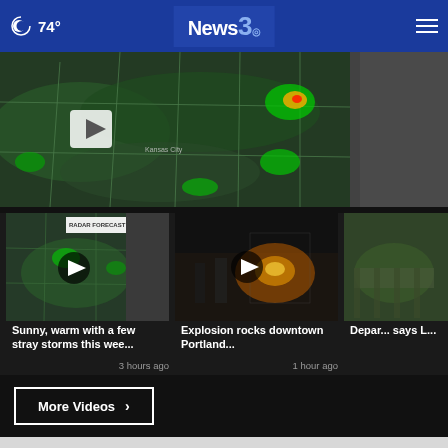74° News3
[Figure (screenshot): Weather radar map showing storm coverage across the US, with a play button overlay and a meteorologist visible on the right side]
[Figure (screenshot): Video thumbnail showing radar forecast map with a meteorologist, play button overlay]
Sunny, warm with a few stray storms this wee...
3 hours ago
[Figure (screenshot): Video thumbnail showing an explosion scene in downtown Portland at night, play button overlay]
Explosion rocks downtown Portland...
1 hour ago
[Figure (screenshot): Partial video thumbnail showing outdoor scene]
Depar... says L...
More Videos ›